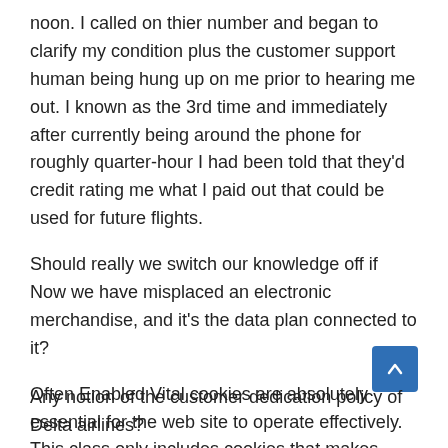noon. I called on thier number and began to clarify my condition plus the customer support human being hung up on me prior to hearing me out. I known as the 3rd time and immediately after currently being around the phone for roughly quarter-hour I had been told that they'd credit rating me what I paid out that could be used for future flights.
Should really we switch our knowledge off if Now we have misplaced an electronic merchandise, and it's the data plan connected to it?
Often Enabled Vital cookies are absolutely essential for the web site to operate effectively. This class only includes cookies that makes certain basic functionalities and security measures of the website. These cookies tend not to store any personalized information and facts.
Any notion of the customer dedication policy of Delta airlines?